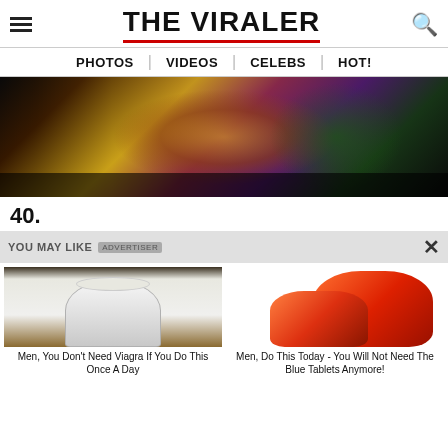THE VIRALER
PHOTOS | VIDEOS | CELEBS | HOT!
[Figure (illustration): Comic book style illustration showing figures in colorful scene with yellow and green background]
40.
YOU MAY LIKE  ADVERTISER  ×
[Figure (photo): Photo of a white mushroom growing from ground]
Men, You Don't Need Viagra If You Do This Once A Day
[Figure (photo): Photo of red/orange colored objects on white background]
Men, Do This Today - You Will Not Need The Blue Tablets Anymore!